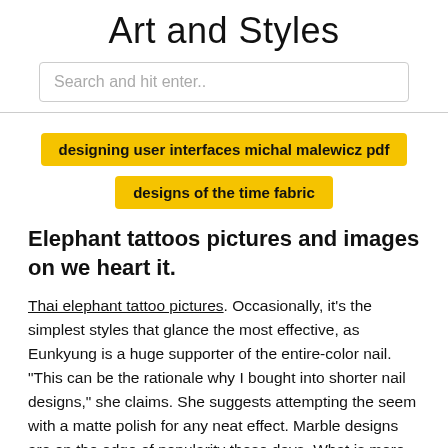Art and Styles
Search and hit enter..
designing user interfaces michal malewicz pdf
designs of the time fabric
Elephant tattoos pictures and images on we heart it.
Thai elephant tattoo pictures. Occasionally, it's the simplest styles that glance the most effective, as Eunkyung is a huge supporter of the entire-color nail. "This can be the rationale why I bought into shorter nail designs," she claims. She suggests attempting the seem with a matte polish for any neat effect. Marble designs are on the edge of popularity these days. What is more, in the event you are searhing for nail artwork for short nails for novices at your house you are sure to try out any of these ideas out. The point is that they're exceptionally lovely and really easy to tug off at your house. Consider it! A platinum and gold ensemble. The combination